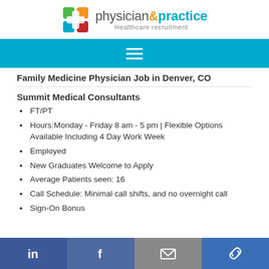physician&practice Healthcare recruitment
[Figure (logo): Physician & Practice Healthcare Recruitment logo with colorful cross icon]
Family Medicine Physician Job in Denver, CO
Summit Medical Consultants
FT/PT
Hours:Monday - Friday 8 am - 5 pm | Flexible Options Available Including 4 Day Work Week
Employed
New Graduates Welcome to Apply
Average Patients seen: 16
Call Schedule: Minimal call shifts, and no overnight call
Sign-On Bonus
Social share buttons: LinkedIn, Facebook, Email, Link